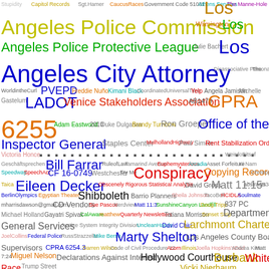[Figure (infographic): Word cloud featuring legal and government-related terms. Larger words include 'Los Angeles City Attorney', 'Los Angeles Police Commission', 'Los Angeles Police Protective League', 'LADOT', 'CPRA', '6255', 'Office of the Inspector General', 'Bill Farrar', 'Conspiracy', 'Copying Records', 'Eileen Decker', 'Matt 11:15', 'Shibboleth', 'Larchmont Charter School', 'Marty Shelton', 'Burbank', 'Hollywood Courthouse', 'Declarations Against Interest', and many other smaller terms in various colors.]